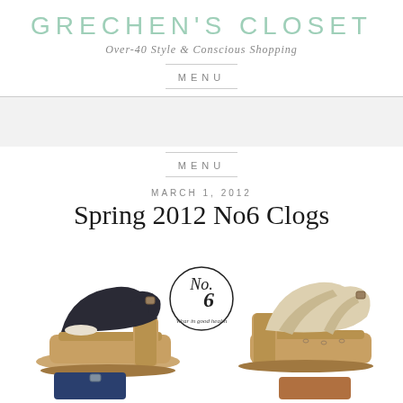GRECHEN'S CLOSET
Over-40 Style & Conscious Shopping
MENU
MENU
MARCH 1, 2012
Spring 2012 No6 Clogs
[Figure (photo): Two pairs of No. 6 wooden clogs sandals on platform heels — a dark navy/black pair on the left and a beige/nude pair on the right, with the No. 6 brand logo circle in the center reading 'No. 6 Wear in good health'. Bottom strip shows partial views of additional clogs.]